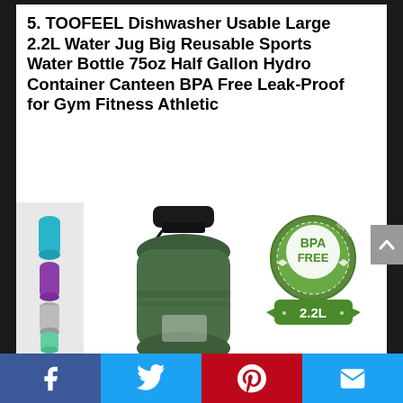5. TOOFEEL Dishwasher Usable Large 2.2L Water Jug Big Reusable Sports Water Bottle 75oz Half Gallon Hydro Container Canteen BPA Free Leak-Proof for Gym Fitness Athletic
[Figure (photo): Product photo of a large dark green 2.2L water jug/bottle with black screw cap and wrist strap, alongside color variant thumbnails on the left (teal, purple, grey, mint, white) and a BPA FREE badge and 2.2L badge on the right.]
Facebook | Twitter | Pinterest | Email (social share bar)